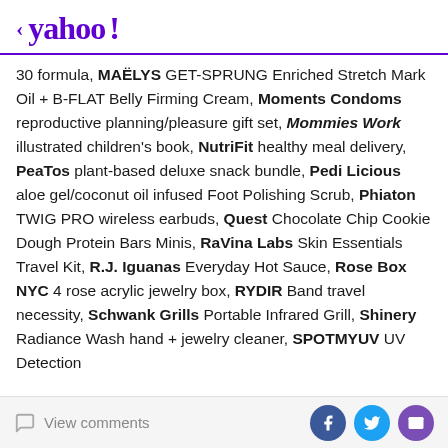< yahoo!
30 formula, MAËLYS GET-SPRUNG Enriched Stretch Mark Oil + B-FLAT Belly Firming Cream, Moments Condoms reproductive planning/pleasure gift set, Mommies Work illustrated children's book, NutriFit healthy meal delivery, PeaTos plant-based deluxe snack bundle, Pedi Licious aloe gel/coconut oil infused Foot Polishing Scrub, Phiaton TWIG PRO wireless earbuds, Quest Chocolate Chip Cookie Dough Protein Bars Minis, RaVina Labs Skin Essentials Travel Kit, R.J. Iguanas Everyday Hot Sauce, Rose Box NYC 4 rose acrylic jewelry box, RYDIR Band travel necessity, Schwank Grills Portable Infrared Grill, Shinery Radiance Wash hand + jewelry cleaner, SPOTMYUV UV Detection
View comments | Facebook | Twitter | Email